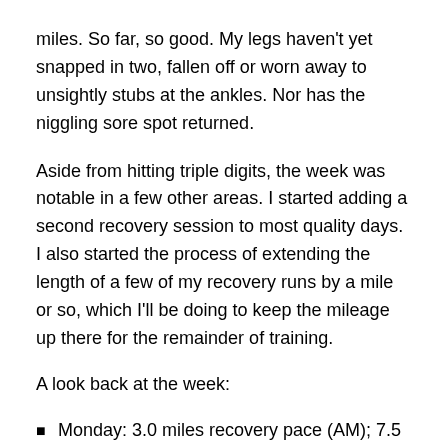miles. So far, so good. My legs haven't yet snapped in two, fallen off or worn away to unsightly stubs at the ankles. Nor has the niggling sore spot returned.
Aside from hitting triple digits, the week was notable in a few other areas. I started adding a second recovery session to most quality days. I also started the process of extending the length of a few of my recovery runs by a mile or so, which I'll be doing to keep the mileage up there for the remainder of training.
A look back at the week:
Monday: 3.0 miles recovery pace (AM); 7.5 miles recovery pace (PM)
Tuesday: 14.4 mile long run (steady pace) (AM); 4.1 miles recovery pace (PM)